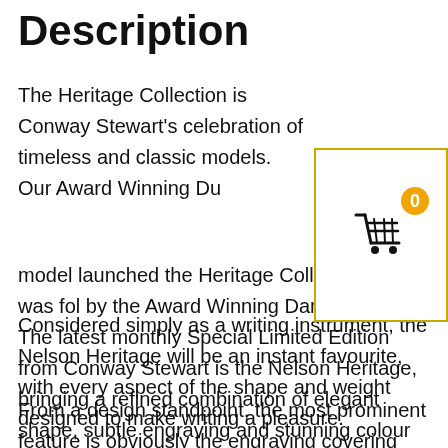Description
The Heritage Collection is Conway Stewart’s celebration of timeless and classic models. Our Award Winning Du… model launched the Heritage Collection and was fol… by the Award Winning Dandy Heritage. The latest monthly Special Limited Edition from Conway Stewart is the Nelson Heritage, bringing a refined combination of elegant shape, subtle engraving and stunning colour choice together in a symphony of visual appeal that truly rises above the sum of its parts.
[Figure (illustration): Shopping cart icon with a badge showing '0', overlaid on a white box with gold border]
Considered simply as a writing instrument, the Nelson Heritage will be an instant favourite, with every aspect of the shape and weight designed to make writing a pleasure.
From a design standpoint, the most prominent feature is obviously the engraving covering both cap and barrel. Or